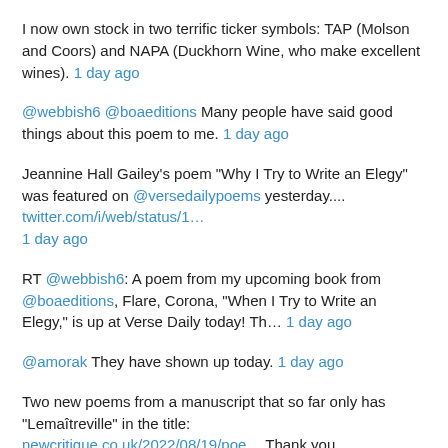I now own stock in two terrific ticker symbols: TAP (Molson and Coors) and NAPA (Duckhorn Wine, who make excellent wines). 1 day ago
@webbish6 @boaeditions Many people have said good things about this poem to me. 1 day ago
Jeannine Hall Gailey's poem "Why I Try to Write an Elegy" was featured on @versedailypoems yesterday.... twitter.com/i/web/status/1… 1 day ago
RT @webbish6: A poem from my upcoming book from @boaeditions, Flare, Corona, "When I Try to Write an Elegy," is up at Verse Daily today! Th… 1 day ago
@amorak They have shown up today. 1 day ago
Two new poems from a manuscript that so far only has "Lemaîtreville" in the title: newcritique.co.uk/2022/08/19/poe… Thank you @NewCritique 1 day ago
Thank you so much! twitter.com/NewCritique/st… 1 day ago